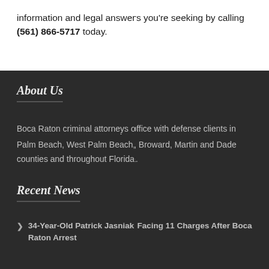information and legal answers you're seeking by calling (561) 866-5717 today.
About Us
Boca Raton criminal attorneys office with defense clients in Palm Beach, West Palm Beach, Broward, Martin and Dade counties and throughout Florida.
Recent News
34-Year-Old Patrick Jasniak Facing 11 Charges After Boca Raton Arrest